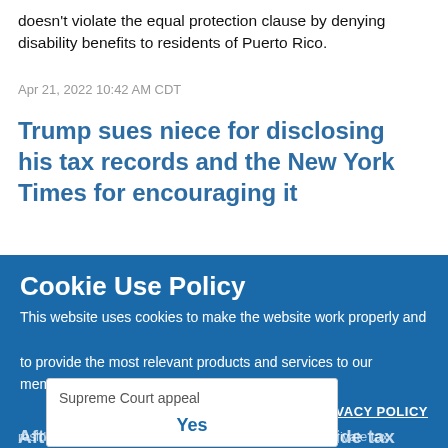doesn't violate the equal protection clause by denying disability benefits to residents of Puerto Rico.
Apr 21, 2022 10:42 AM CDT
Trump sues niece for disclosing his tax records and the New York Times for encouraging it
Former President Donald Trump filed a lawsuit Tuesday against the New York Times and Mary Trump, his niece, that seeks at least [amount] for disclosure of his tax records to the newspaper.
Cookie Use Policy
This website uses cookies to make the website work properly and to provide the most relevant products and services to our members and site visitors.
PRIVACY POLICY
Afternoon Briefs: Trump must provide tax records, court says; DA accepts gift cards in exchange for community service
Trump loses bid to block turnover of tax records, plans U.S. Supreme Court appeal
Yes
President Donald Trump can't block a subpoena for his private tax records from New York prosecutors...